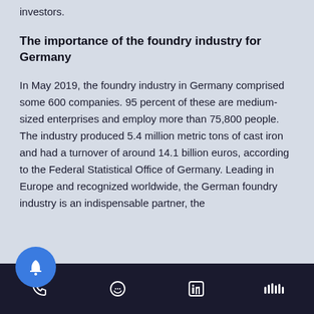investors.
The importance of the foundry industry for Germany
In May 2019, the foundry industry in Germany comprised some 600 companies. 95 percent of these are medium-sized enterprises and employ more than 75,800 people. The industry produced 5.4 million metric tons of cast iron and had a turnover of around 14.1 billion euros, according to the Federal Statistical Office of Germany. Leading in Europe and recognized worldwide, the German foundry industry is an indispensable partner, the connecting element between the supplier industry
Footer navigation bar with notification, phone, message, LinkedIn, and audio icons